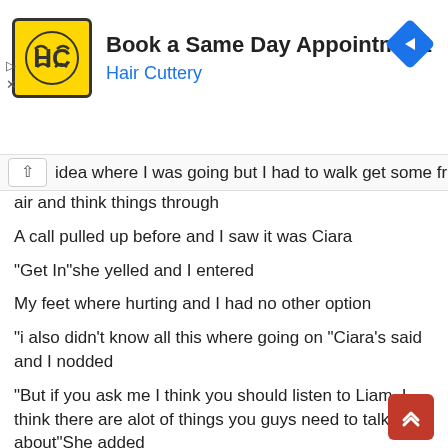[Figure (screenshot): Hair Cuttery advertisement banner with HC logo, 'Book a Same Day Appointment' title, blue navigation arrow icon, and ad controls (triangle and X).]
idea where I was going but I had to walk get some fresh air and think things through
A call pulled up before and I saw it was Ciara
"Get In"she yelled and I entered
My feet where hurting and I had no other option
"i also didn't know all this where going on "Ciara's said and I nodded
"But if you ask me I think you should listen to Liam ,I think there are alot of things you guys need to talk about"She added
"yeah I know,I just feel like my whole life have been a lie"I replied
"yeah I understand that"she said making me smile